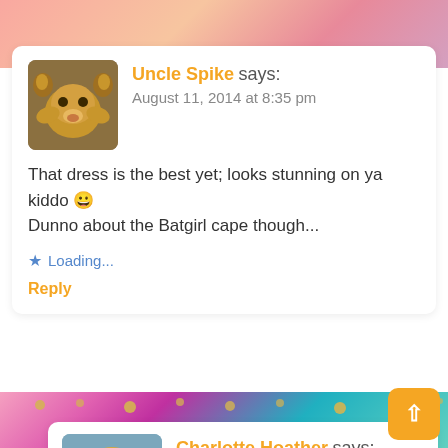Uncle Spike says:
August 11, 2014 at 8:35 pm
That dress is the best yet; looks stunning on ya kiddo 🙂 Dunno about the Batgirl cape though...
Loading...
Reply
Charlotte Hoather says:
August 11, 2014 at 8:56 pm
It was my Mums idea, I was reluctant at first, she's got a hint of the drama queen hidden 🙂 and to be honest it was so cold I was glad to have it to